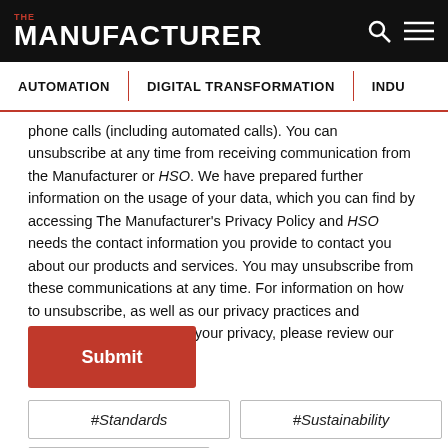THE MANUFACTURER
AUTOMATION | DIGITAL TRANSFORMATION | INDU…
phone calls (including automated calls). You can unsubscribe at any time from receiving communication from the Manufacturer or HSO. We have prepared further information on the usage of your data, which you can find by accessing The Manufacturer's Privacy Policy and HSO needs the contact information you provide to contact you about our products and services. You may unsubscribe from these communications at any time. For information on how to unsubscribe, as well as our privacy practices and commitment to protecting your privacy, please review our Privacy Policy
Submit
#Standards
#Sustainability
#Webinar